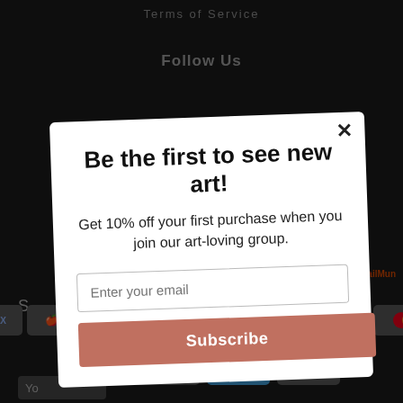Terms of Service
Follow Us
[Figure (screenshot): Email subscription modal popup on a dark e-commerce website background. Modal says 'Be the first to see new art!' with 10% off offer, email input field, and Subscribe button. Background shows payment method icons (Amex, Apple Pay, Diners, Discover, Meta, G Pay, Mastercard, PayPal, DPay, Venmo, Visa). Powered by MailMunch branding visible.]
powered by MailMunch